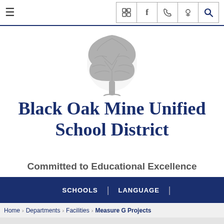Navigation bar with hamburger menu and social/contact icons (LinkedIn, Facebook, phone, location, search)
[Figure (illustration): Gray oak tree silhouette logo for Black Oak Mine Unified School District]
Black Oak Mine Unified School District
Committed to Educational Excellence
SCHOOLS | LANGUAGE |
Home > Departments > Facilities > Measure G Projects